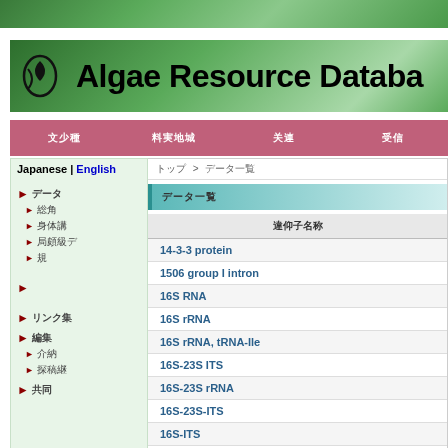[Figure (screenshot): Top green decorative band with algae/nature imagery]
[Figure (screenshot): Algae Resource Database site header banner with logo icon and title text]
Algae Resource Databa[se]
Navigation bar with menu items in Japanese
Japanese | English
▶ [Japanese nav item]
› [Japanese sub-item]
› [Japanese sub-item]
› [Japanese sub-item]
› [Japanese sub-item]
▶ [blank]
▶ [Japanese nav item]
▶ [Japanese nav item]
› [Japanese sub-item]
› [Japanese sub-item]
▶ [Japanese nav item]
[Japanese breadcrumb] > [Japanese page name]
[Japanese section title]
| 遺伝子名称 |
| --- |
| 14-3-3 protein |
| 1506 group I intron |
| 16S RNA |
| 16S rRNA |
| 16S rRNA, tRNA-Ile |
| 16S-23S ITS |
| 16S-23S rRNA |
| 16S-23S-ITS |
| 16S-ITS |